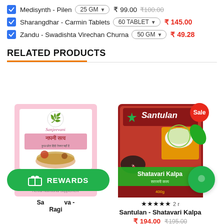Medisynth - Pilen | 25 GM | ₹99.00 ₹100.00
Sharangdhar - Carmin Tablets | 60 TABLET | ₹145.00
Zandu - Swadishta Virechan Churna | 50 GM | ₹49.28
RELATED PRODUCTS
[Figure (photo): Sanjeevani Nappi Satva - Ragi product box showing herbal product packaging with Hindi text]
[Figure (photo): Santulan Shatavari Kalpa product packet in red packaging with Sale badge]
★★★★★ 2 r...
Santulan - Shatavari Kalpa
₹194.00 ₹195.00
Sa... ...va - Ragi